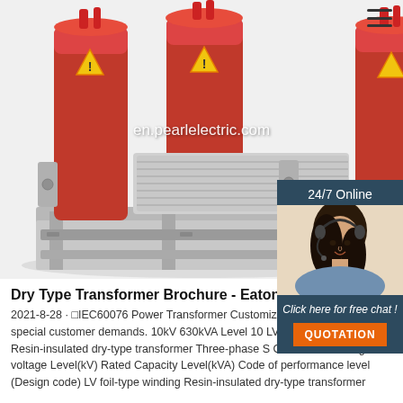[Figure (photo): Photograph of a three-phase dry-type resin-insulated transformer with red cylindrical coils and gray steel frame/base, with 'en.pearlelectric.com' watermark overlay]
[Figure (photo): 24/7 Online chat widget on right side showing a smiling woman wearing a headset, with 'Click here for free chat!' text and an orange QUOTATION button below]
Dry Type Transformer Brochure - Eaton
2021-8-28 · □IEC60076 Power Transformer Customizable according to special customer demands. 10kV 630kVA Level 10 LV foil-type winding Resin-insulated dry-type transformer Three-phase S C B 10 630 10 High-voltage Level(kV) Rated Capacity Level(kVA) Code of performance level (Design code) LV foil-type winding Resin-insulated dry-type transformer